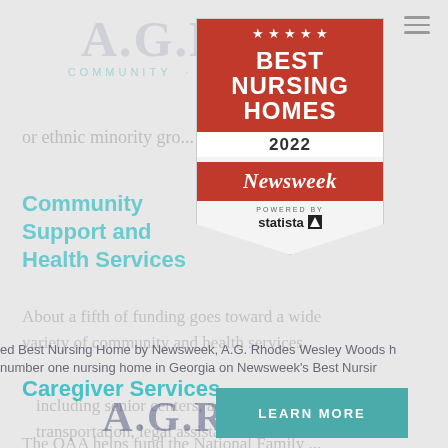[Figure (logo): A.G. Rhodes logo watermark at top, large grey text]
COMMUNITY · WELLNESS · CARE subtitle watermark
or ethnic minority gro...
Community Support and Health Services
[Figure (logo): Best Nursing Homes 2022 badge by Newsweek powered by Statista — red shield shape with stars, BEST NURSING HOMES 2022 text, Newsweek banner, statista logo]
About a fifth of funding goes toward a wide variety of community and health services,
ed Best Nursing Home by Newsweek, A.G. Rhodes Wesley Woods h
number one nursing home in Georgia on Newsweek's Best Nursir
including senior centers, adult day care, transportation, legal assistance and home care.²
Caregiver Services
[Figure (logo): LEARN MORE button in teal/blue-green]
[Figure (logo): A.G. Rhodes bottom watermark logo in dark blue-grey]
The OAA helps fund the National Family...